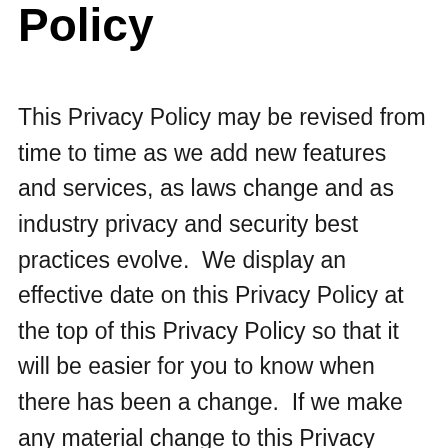Policy
This Privacy Policy may be revised from time to time as we add new features and services, as laws change and as industry privacy and security best practices evolve.  We display an effective date on this Privacy Policy at the top of this Privacy Policy so that it will be easier for you to know when there has been a change.  If we make any material change to this Privacy Policy regarding use or disclosure of personal information, we will provide advance notice on our site.  Changes will apply to information collected after the